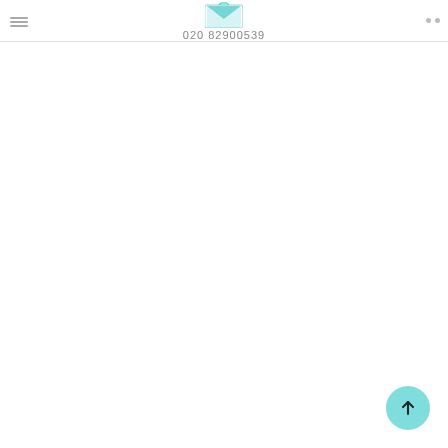020 82900539
[Figure (illustration): Scroll-to-top button: a teal/cyan circular button with an upward-pointing arrow, located in the bottom-right corner of the page.]